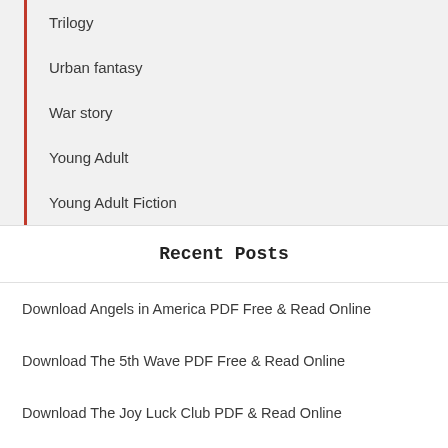Trilogy
Urban fantasy
War story
Young Adult
Young Adult Fiction
Recent Posts
Download Angels in America PDF Free & Read Online
Download The 5th Wave PDF Free & Read Online
Download The Joy Luck Club PDF & Read Online
Download The Nickel Boys PDF Free & Read Online